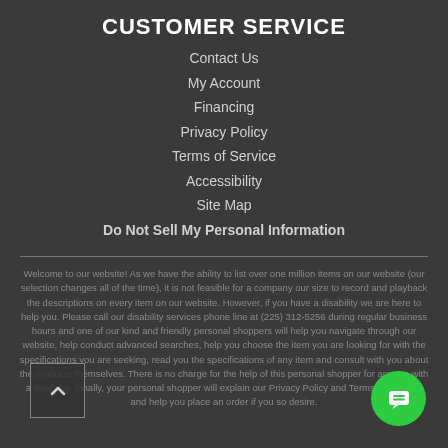CUSTOMER SERVICE
Contact Us
My Account
Financing
Privacy Policy
Terms of Service
Accessibility
Site Map
Do Not Sell My Personal Information
Welcome to our website! As we have the ability to list over one million items on our website (our selection changes all of the time), it is not feasible for a company our size to record and playback the descriptions on every item on our website. However, if you have a disability we are here to help you. Please call our disability services phone line at (225) 312-5256 during regular business hours and one of our kind and friendly personal shoppers will help you navigate through our website, help conduct advanced searches, help you choose the item you are looking for with the specifications you are seeking, read you the specifications of any item and consult with you about the products themselves. There is no charge for the help of this personal shopper for anyone with a disability. Finally, your personal shopper will explain our Privacy Policy and Terms of Service, and help you place an order if you so desire.